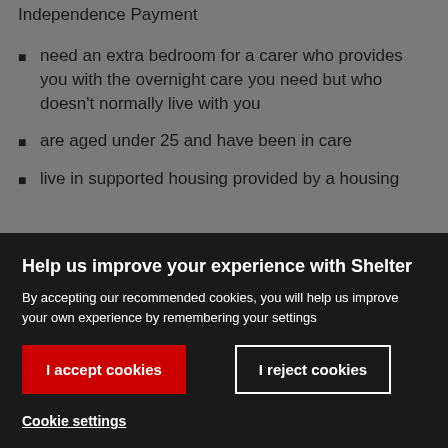Independence Payment
need an extra bedroom for a carer who provides you with the overnight care you need but who doesn't normally live with you
are aged under 25 and have been in care
live in supported housing provided by a housing
Help us improve your experience with Shelter
By accepting our recommended cookies, you will help us improve your own experience by remembering your settings
I accept cookies
I reject cookies
Cookie settings